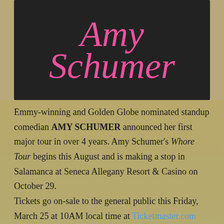[Figure (illustration): Dark charcoal/black background poster with 'Amy Schumer' written in large pink cursive/script lettering]
Emmy-winning and Golden Globe nominated standup comedian AMY SCHUMER announced her first major tour in over 4 years. Amy Schumer's Whore Tour begins this August and is making a stop in Salamanca at Seneca Allegany Resort & Casino on October 29.
Tickets go on-sale to the general public this Friday, March 25 at 10AM local time at Ticketmaster.com